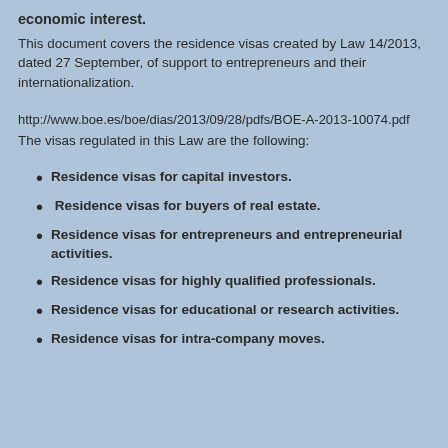economic interest.
This document covers the residence visas created by Law 14/2013, dated 27 September, of support to entrepreneurs and their internationalization.
http://www.boe.es/boe/dias/2013/09/28/pdfs/BOE-A-2013-10074.pdf
The visas regulated in this Law are the following:
Residence visas for capital investors.
Residence visas for buyers of real estate.
Residence visas for entrepreneurs and entrepreneurial activities.
Residence visas for highly qualified professionals.
Residence visas for educational or research activities.
Residence visas for intra-company moves.